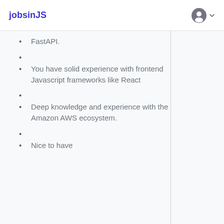jobsinJS
FastAPI.
You have solid experience with frontend Javascript frameworks like React
Deep knowledge and experience with the Amazon AWS ecosystem.
Nice to have